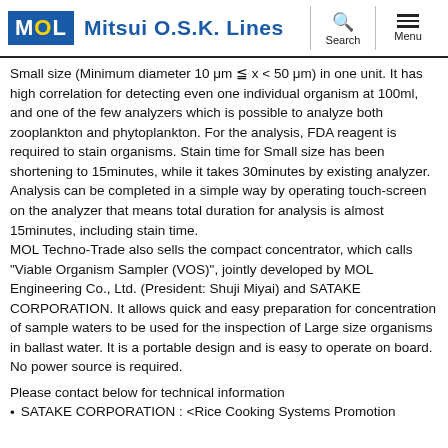Mitsui O.S.K. Lines
Small size (Minimum diameter 10 μm ≦ x < 50 μm) in one unit. It has high correlation for detecting even one individual organism at 100ml, and one of the few analyzers which is possible to analyze both zooplankton and phytoplankton. For the analysis, FDA reagent is required to stain organisms. Stain time for Small size has been shortening to 15minutes, while it takes 30minutes by existing analyzer. Analysis can be completed in a simple way by operating touch-screen on the analyzer that means total duration for analysis is almost 15minutes, including stain time. MOL Techno-Trade also sells the compact concentrator, which calls "Viable Organism Sampler (VOS)", jointly developed by MOL Engineering Co., Ltd. (President: Shuji Miyai) and SATAKE CORPORATION. It allows quick and easy preparation for concentration of sample waters to be used for the inspection of Large size organisms in ballast water. It is a portable design and is easy to operate on board. No power source is required.
Please contact below for technical information
SATAKE CORPORATION : <Rice Cooking Systems Promotion